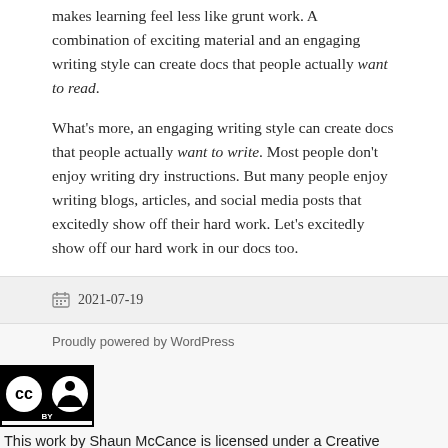makes learning feel less like grunt work. A combination of exciting material and an engaging writing style can create docs that people actually want to read.
What's more, an engaging writing style can create docs that people actually want to write. Most people don't enjoy writing dry instructions. But many people enjoy writing blogs, articles, and social media posts that excitedly show off their hard work. Let's excitedly show off our hard work in our docs too.
2021-07-19
Proudly powered by WordPress
[Figure (logo): Creative Commons BY license logo — black and white square with CC and person icons and BY text]
This work by Shaun McCance is licensed under a Creative Commons Attribution 3.0 United States.